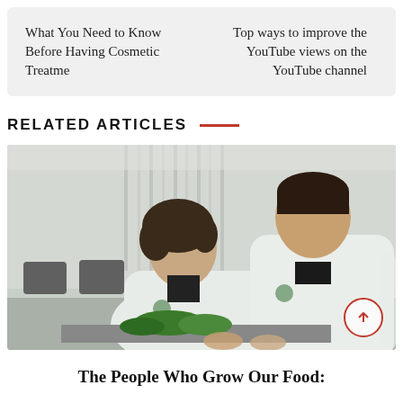What You Need to Know Before Having Cosmetic Treatme
Top ways to improve the YouTube views on the YouTube channel
RELATED ARTICLES
[Figure (photo): Two young people in white lab coats leaning over and examining small plants on a table, in what appears to be an agricultural or food science setting.]
The People Who Grow Our Food: